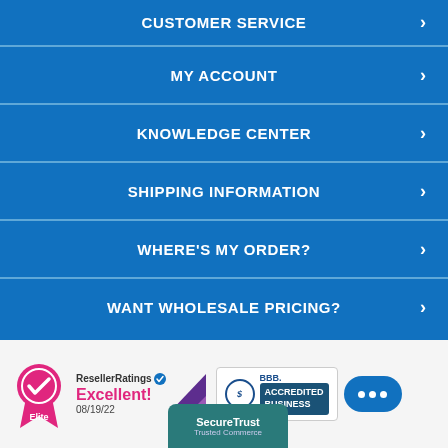CUSTOMER SERVICE
MY ACCOUNT
KNOWLEDGE CENTER
SHIPPING INFORMATION
WHERE'S MY ORDER?
WANT WHOLESALE PRICING?
[Figure (logo): ResellerRatings Elite badge with pink medal icon, 'Excellent!' text, date 08/19/22, BBB Accredited Business badge, SecureTrust badge, and blue chat bubble]